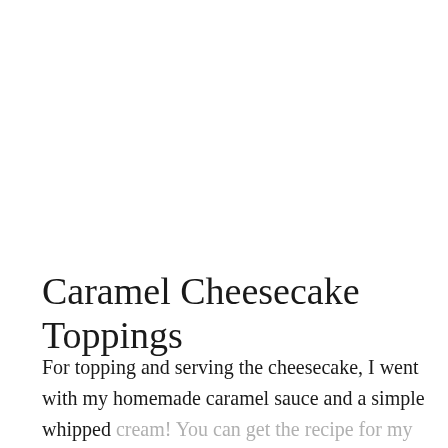Caramel Cheesecake Toppings
For topping and serving the cheesecake, I went with my homemade caramel sauce and a simple whipped cream! You can get the recipe for my caramel sauce HERE...